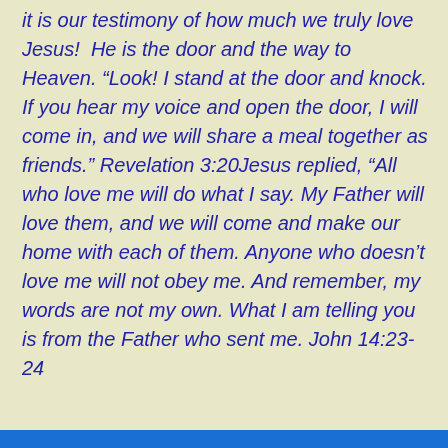it is our testimony of how much we truly love Jesus!  He is the door and the way to Heaven. “Look! I stand at the door and knock. If you hear my voice and open the door, I will come in, and we will share a meal together as friends.” Revelation 3:20Jesus replied, “All who love me will do what I say. My Father will love them, and we will come and make our home with each of them. Anyone who doesn’t love me will not obey me. And remember, my words are not my own. What I am telling you is from the Father who sent me. John 14:23-24